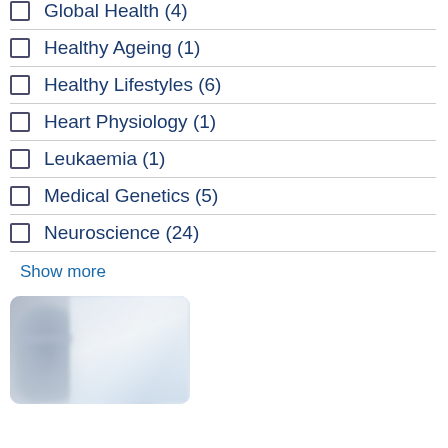Global Health (4)
Healthy Ageing (1)
Healthy Lifestyles (6)
Heart Physiology (1)
Leukaemia (1)
Medical Genetics (5)
Neuroscience (24)
Show more
[Figure (photo): Blurred close-up photo of a person wearing glasses, with a bright laboratory or clinical background]